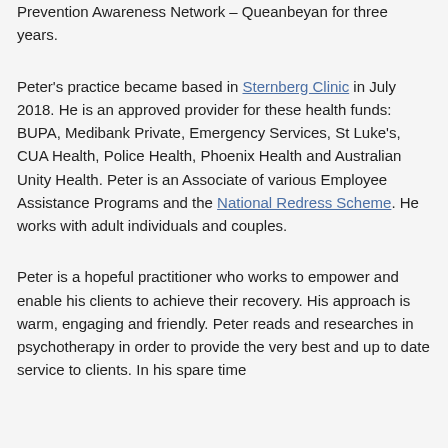Prevention Awareness Network – Queanbeyan for three years.
Peter's practice became based in Sternberg Clinic in July 2018. He is an approved provider for these health funds: BUPA, Medibank Private, Emergency Services, St Luke's, CUA Health, Police Health, Phoenix Health and Australian Unity Health. Peter is an Associate of various Employee Assistance Programs and the National Redress Scheme. He works with adult individuals and couples.
Peter is a hopeful practitioner who works to empower and enable his clients to achieve their recovery. His approach is warm, engaging and friendly. Peter reads and researches in psychotherapy in order to provide the very best and up to date service to clients. In his spare time